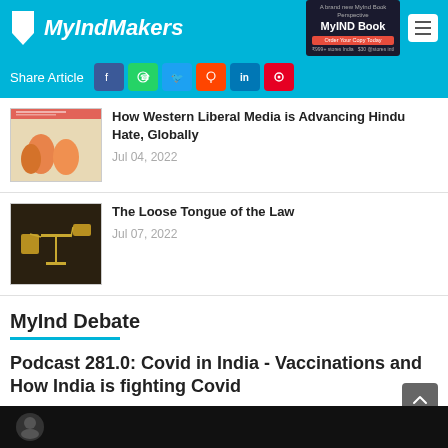MyIndMakers
Share Article
[Figure (photo): Thumbnail image of people in orange clothing for article about Western Liberal Media and Hindu Hate]
How Western Liberal Media is Advancing Hindu Hate, Globally
Jul 04, 2022
[Figure (photo): Thumbnail image of golden scales of justice for article about The Loose Tongue of the Law]
The Loose Tongue of the Law
Jul 07, 2022
MyInd Debate
Podcast 281.0: Covid in India - Vaccinations and How India is fighting Covid
May 03, 2...   Myind Staff